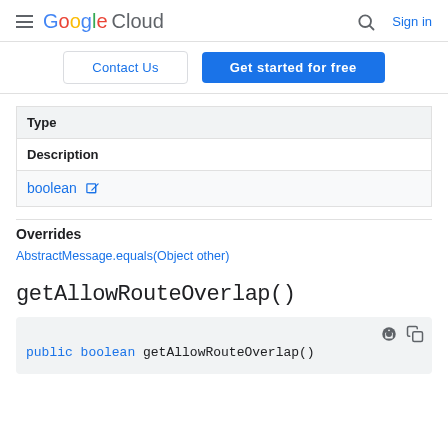Google Cloud — Sign in
Contact Us | Get started for free
| Type |
| --- |
| Description |
| boolean ↗ |
Overrides
AbstractMessage.equals(Object other)
getAllowRouteOverlap()
public boolean getAllowRouteOverlap()